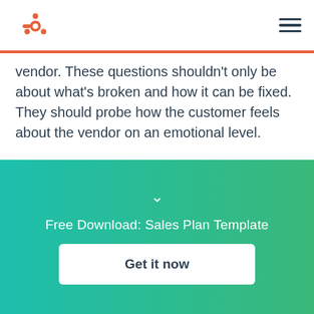HubSpot
vendor. These questions shouldn’t only be about what’s broken and how it can be fixed. They should probe how the customer feels about the vendor on an emotional level.
Always ask for a grade. For example, “How would you grade our ability to provide strategic suggestions that contribute toward ongoing growth?” Your customer should provide a grade on a scale of A through F. As
Free Download: Sales Plan Template
Get it now